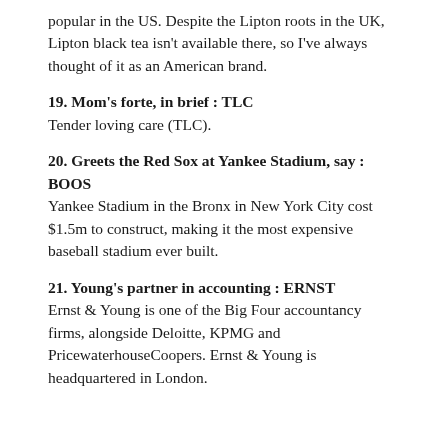popular in the US. Despite the Lipton roots in the UK, Lipton black tea isn't available there, so I've always thought of it as an American brand.
19. Mom's forte, in brief : TLC
Tender loving care (TLC).
20. Greets the Red Sox at Yankee Stadium, say : BOOS
Yankee Stadium in the Bronx in New York City cost $1.5m to construct, making it the most expensive baseball stadium ever built.
21. Young's partner in accounting : ERNST
Ernst & Young is one of the Big Four accountancy firms, alongside Deloitte, KPMG and PricewaterhouseCoopers. Ernst & Young is headquartered in London.